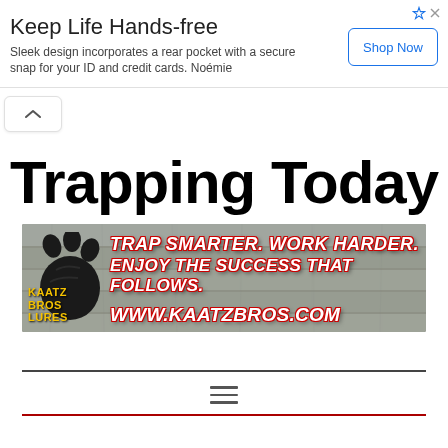[Figure (infographic): Ad banner: 'Keep Life Hands-free' with 'Sleek design incorporates a rear pocket with a secure snap for your ID and credit cards. Noémie' and a 'Shop Now' button]
[Figure (illustration): Chevron/collapse button UI element]
Trapping Today
[Figure (infographic): Kaatz Bros Lures advertisement banner with paw print logo, slogan 'TRAP SMARTER. WORK HARDER. ENJOY THE SUCCESS THAT FOLLOWS.' and URL www.kaatzbros.com]
[Figure (illustration): Horizontal rule divider, hamburger menu icon (three horizontal lines), and red horizontal rule divider]